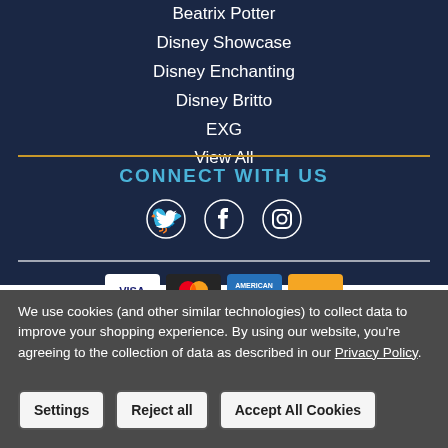Beatrix Potter
Disney Showcase
Disney Enchanting
Disney Britto
EXG
View All
CONNECT WITH US
[Figure (illustration): Social media icons: Twitter (bird), Facebook (f), Instagram (camera)]
[Figure (illustration): Payment card logos strip: Visa, Mastercard, American Express, and one more card]
We use cookies (and other similar technologies) to collect data to improve your shopping experience. By using our website, you're agreeing to the collection of data as described in our Privacy Policy.
Settings  Reject all  Accept All Cookies